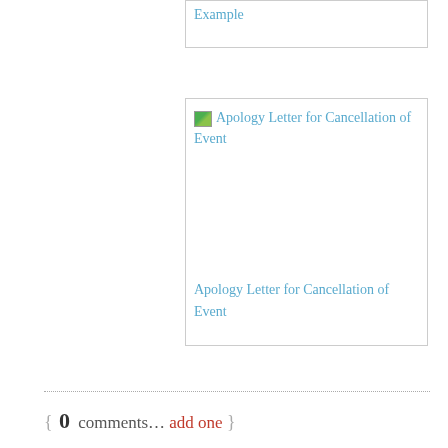[Figure (screenshot): Top card with link text 'Example' in blue]
[Figure (screenshot): Card with broken image icon and link 'Apology Letter for Cancellation of Event', and below it the same text as a standalone link]
{ 0 comments… add one }
Leave a Comment
Name *